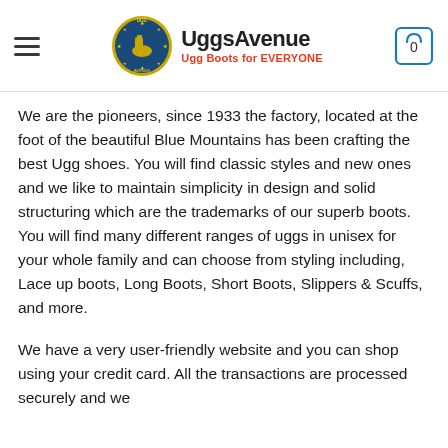UggsAvenue — Ugg Boots for EVERYONE
We are the pioneers, since 1933 the factory, located at the foot of the beautiful Blue Mountains has been crafting the best Ugg shoes. You will find classic styles and new ones and we like to maintain simplicity in design and solid structuring which are the trademarks of our superb boots. You will find many different ranges of uggs in unisex for your whole family and can choose from styling including, Lace up boots, Long Boots, Short Boots, Slippers & Scuffs, and more.
We have a very user-friendly website and you can shop using your credit card. All the transactions are processed securely and we